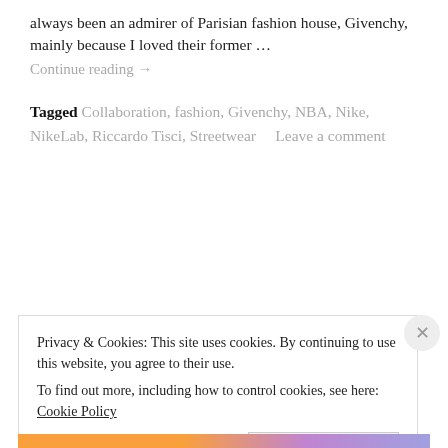always been an admirer of Parisian fashion house, Givenchy, mainly because I loved their former …
Continue reading →
Tagged Collaboration, fashion, Givenchy, NBA, Nike, NikeLab, Riccardo Tisci, Streetwear     Leave a comment
[Figure (illustration): Black silhouette of a person with curly hair, hunched over]
Privacy & Cookies: This site uses cookies. By continuing to use this website, you agree to their use.
To find out more, including how to control cookies, see here: Cookie Policy
Close and accept